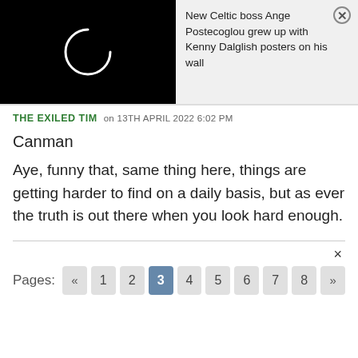[Figure (screenshot): Black background image with a white circular arc (loading spinner) on the left side of the top banner]
New Celtic boss Ange Postecoglou grew up with Kenny Dalglish posters on his wall
THE EXILED TIM on 13TH APRIL 2022 6:02 PM
Canman
Aye, funny that, same thing here, things are getting harder to find on a daily basis, but as ever the truth is out there when you look hard enough.
Pages: « 1 2 3 4 5 6 7 8 »